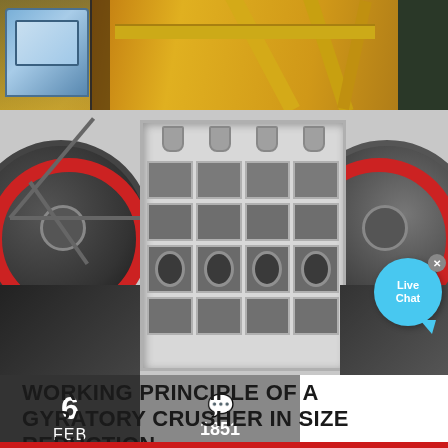[Figure (photo): Industrial mining machinery with yellow crane/conveyor structure and operator cab on top section]
[Figure (photo): Industrial gyratory crusher with large red flywheels on both sides and central crusher body with grid cells; Live Chat bubble overlay in top right]
WORKING PRINCIPLE OF A GYRATORY CRUSHER IN SIZE REDUCTION